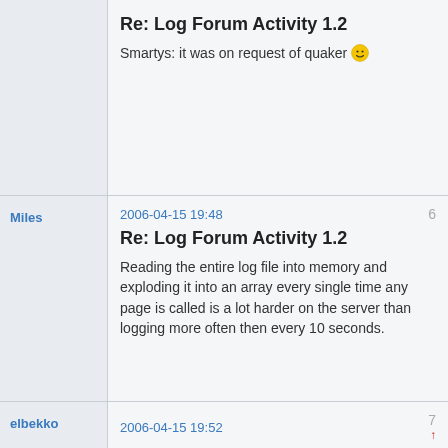Re: Log Forum Activity 1.2
Smartys: it was on request of quaker 🙂
Miles
2006-04-15 19:48
Re: Log Forum Activity 1.2
Reading the entire log file into memory and exploding it into an array every single time any page is called is a lot harder on the server than logging more often then every 10 seconds.
elbekko
2006-04-15 19:52
Re: Log Forum Activity 1.2